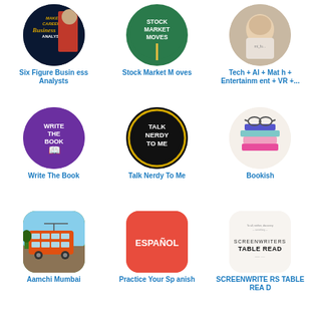[Figure (illustration): Dark blue book cover with text 'Make a Career in Business Analysis' and a person in red]
Six Figure Business Analysts
[Figure (illustration): Green circular icon with text 'STOCK MARKET MOVES']
Stock Market Moves
[Figure (photo): Photo of a person wearing a t-shirt]
Tech + AI + Math + Entertainment + VR +...
[Figure (illustration): Purple circular icon with 'WRITE THE BOOK' text and open book graphic]
Write The Book
[Figure (illustration): Black circular badge with gold border reading 'TALK NERDY TO ME']
Talk Nerdy To Me
[Figure (illustration): Stack of colorful patterned books with glasses on top]
Bookish
[Figure (photo): Photo of an orange double-decker tram on a street]
Aamchi Mumbai
[Figure (illustration): Red rounded square icon with 'ESPAÑOL' text]
Practice Your Spanish
[Figure (illustration): White background with 'SCREENWRITERS TABLE READ' text in black]
SCREENWRITERS TABLE READ